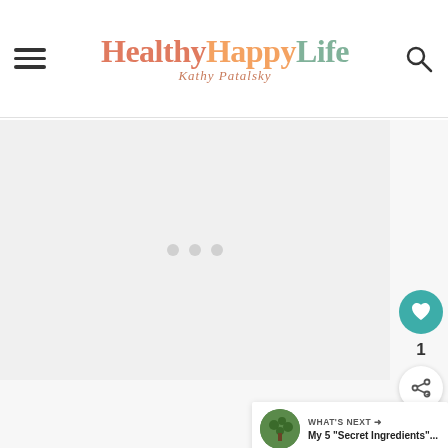HealthyHappyLife — Kathy Patalsky
[Figure (screenshot): Animated GIF placeholder area with three gray dots indicating loading/animation]
[Figure (infographic): Side UI buttons: teal heart/like button, count '1', and share button]
[Figure (infographic): What's Next card with thumbnail and text: My 5 "Secret Ingredients"...]
via GIPHY
[Figure (screenshot): Dunkin advertisement: YOUR PRIZED PUMPKIN — PUMPKIN CREAM COLD BREW — DUNKIN' — ORDER NOW]